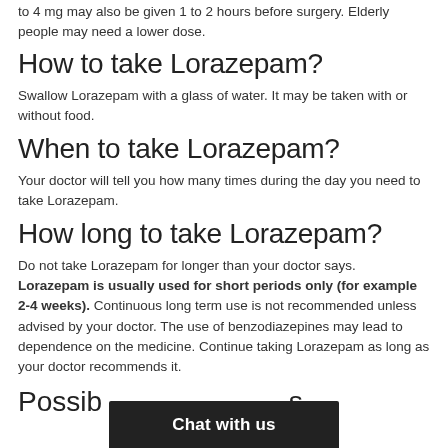to 4 mg may also be given 1 to 2 hours before surgery. Elderly people may need a lower dose.
How to take Lorazepam?
Swallow Lorazepam with a glass of water. It may be taken with or without food.
When to take Lorazepam?
Your doctor will tell you how many times during the day you need to take Lorazepam.
How long to take Lorazepam?
Do not take Lorazepam for longer than your doctor says. Lorazepam is usually used for short periods only (for example 2-4 weeks). Continuous long term use is not recommended unless advised by your doctor. The use of benzodiazepines may lead to dependence on the medicine. Continue taking Lorazepam as long as your doctor recommends it.
Possib... s
Chat with us